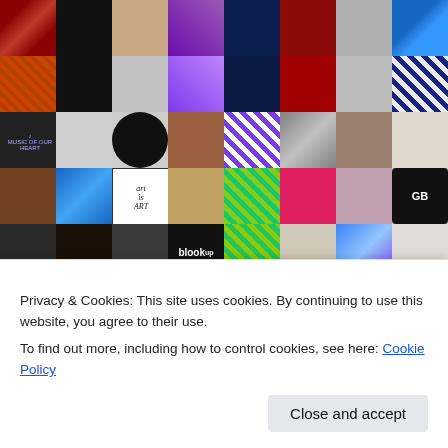[Figure (screenshot): A WordPress/blog website showing a grid of profile avatars and blog thumbnails, with a cookie consent banner overlay at the bottom. The grid contains approximately 48 small square images including photos of people, decorative patterns, food, animals, and logos. A white cookie notice reads: 'Privacy & Cookies: This site uses cookies. By continuing to use this website, you agree to their use. To find out more, including how to control cookies, see here: Cookie Policy' with a 'Close and accept' button.]
Privacy & Cookies: This site uses cookies. By continuing to use this website, you agree to their use.
To find out more, including how to control cookies, see here: Cookie Policy